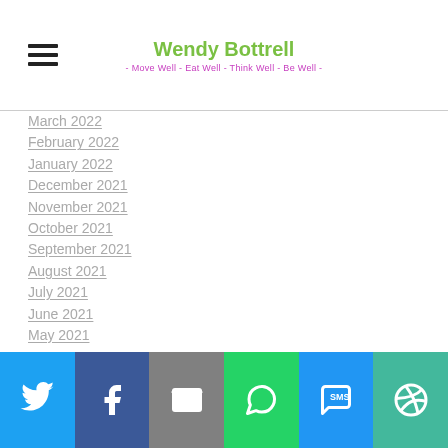Wendy Bottrell - Move Well - Eat Well - Think Well - Be Well -
March 2022
February 2022
January 2022
December 2021
November 2021
October 2021
September 2021
August 2021
July 2021
June 2021
May 2021
April 2021
March 2021
February 2021
January 2021
[Figure (infographic): Social sharing bar with icons: Twitter (blue), Facebook (dark blue), Email (gray), WhatsApp (green), SMS (blue), More (teal)]